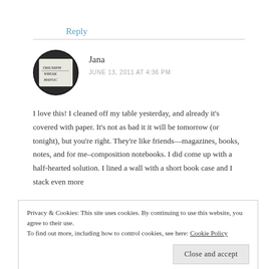Reply
[Figure (photo): Circular avatar photo showing a handwritten note reading 'TRIUMPH WREAK HAVOC' in black and white]
Jana
JUNE 13, 2011 AT 4:36 PM
I love this! I cleaned off my table yesterday, and already it's covered with paper. It's not as bad it it will be tomorrow (or tonight), but you're right. They're like friends—magazines, books, notes, and for me–composition notebooks. I did come up with a half-hearted solution. I lined a wall with a short book case and I stack even more
Privacy & Cookies: This site uses cookies. By continuing to use this website, you agree to their use.
To find out more, including how to control cookies, see here: Cookie Policy
Close and accept